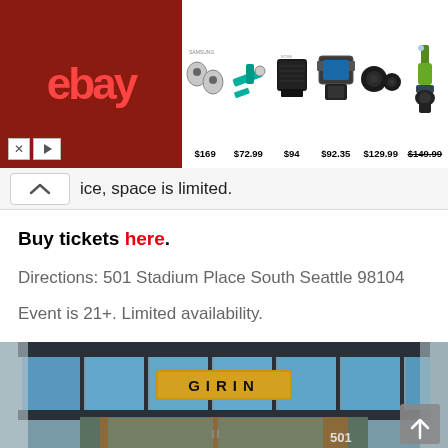[Figure (screenshot): eBay advertisement banner showing earbuds ($169), power tool ($72.99), Bose speaker ($94), drill set ($92.35), speakers ($129.99), and vacuum ($149.99) on dark red eBay background]
ice, space is limited.
Buy tickets here.
Directions: 501 Stadium Place South Seattle 98104
Event is 21+. Limited availability.
[Figure (photo): Exterior entrance of Girin restaurant, showing a canopy with blue glass panels and illuminated 'GIRIN' sign, with address number 501 visible]